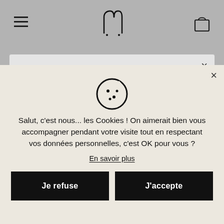[Figure (screenshot): Website navigation bar with hamburger menu icon on left, Mayrena Paris logo in center, and bag/cart icon on right, on gray background]
[Figure (screenshot): White modal dialog showing US flag (Stars and Stripes) for country selection with X close button]
Mayrena Paris ships to United States
× shop in EUR€
[Figure (screenshot): Cookie consent banner with cookie icon, French-language text, and two buttons: Je refuse and J'accepte]
Salut, c'est nous... les Cookies ! On aimerait bien vous accompagner pendant votre visite tout en respectant vos données personnelles, c'est OK pour vous ?
En savoir plus